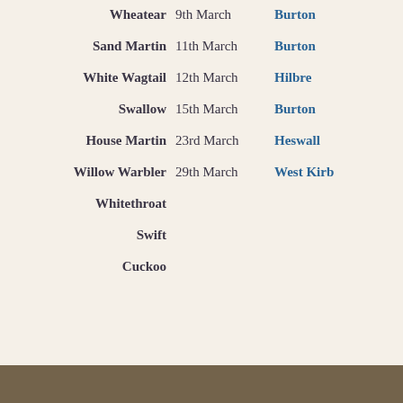| Species | Date | Location |
| --- | --- | --- |
| Wheatear | 9th March | Burton |
| Sand Martin | 11th March | Burton |
| White Wagtail | 12th March | Hilbre |
| Swallow | 15th March | Burton |
| House Martin | 23rd March | Heswall |
| Willow Warbler | 29th March | West Kirby |
| Whitethroat |  |  |
| Swift |  |  |
| Cuckoo |  |  |
[Figure (photo): Partial photograph strip at the bottom of the page, showing a natural/wildlife scene]